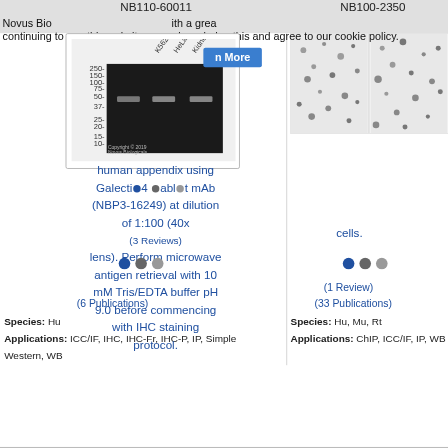NB110-60011
NB100-2350
Novus Biologicals ... continuing to use this website you acknowledge this and agree to our cookie policy.
[Figure (photo): Western blot image showing protein bands at ~50-60 kDa across K562, HeLa, and Kidney lanes with molecular weight markers (250, 150, 100, 75, 50, 37, 25, 20, 15, 10 kDa). Copyright 2019 Novus Biologicals.]
human appendix using Galectin-4 Rabbit mAb (NBP3-16249) at dilution of 1:100 (40x lens). Perform microwave antigen retrieval with 10 mM Tris/EDTA buffer pH 9.0 before commencing with IHC staining protocol.
[Figure (photo): IHC immunohistochemistry images showing scattered dark spots/staining on tissue sections.]
cells.
(3 Reviews)
(1 Review)
(6 Publications)
(33 Publications)
Species: Hu
Applications: ICC/IF, IHC, IHC-Fr, IHC-P, IP, Simple Western, WB
Species: Hu, Mu, Rt
Applications: ChIP, ICC/IF, IP, WB